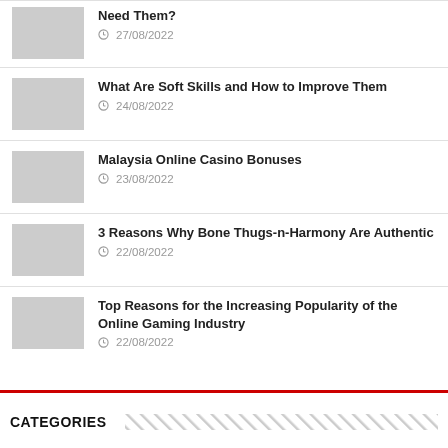Need Them?
27/08/2022
What Are Soft Skills and How to Improve Them
24/08/2022
Malaysia Online Casino Bonuses
23/08/2022
3 Reasons Why Bone Thugs-n-Harmony Are Authentic
22/08/2022
Top Reasons for the Increasing Popularity of the Online Gaming Industry
22/08/2022
CATEGORIES